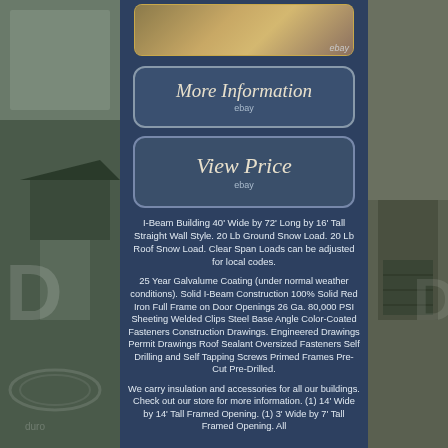[Figure (photo): Top thumbnail image of a steel/metal building interior with warm lighting, eBay watermark visible. Left and right side photo strips showing exterior building and landscape scenes.]
[Figure (other): More Information button with italic serif text and eBay logo, rounded rectangle, dark blue background]
[Figure (other): View Price button with italic serif text and eBay logo, rounded rectangle, dark blue background]
I-Beam Building 40' Wide by 72' Long by 16' Tall Straight Wall Style. 20 Lb Ground Snow Load. 20 Lb Roof Snow Load. Clear Span Loads can be adjusted for local codes.
25 Year Galvalume Coating (under normal weather conditions). Solid I-Beam Construction 100% Solid Red Iron Full Frame on Door Openings 26 Ga. 80,000 PSI Sheeting Welded Clips Steel Base Angle Color-Coated Fasteners Construction Drawings. Engineered Drawings Permit Drawings Roof Sealant Oversized Fasteners Self Drilling and Self Tapping Screws Primed Frames Pre-Cut Pre-Drilled.
We carry insulation and accessories for all our buildings. Check out our store for more information. (1) 14' Wide by 14' Tall Framed Opening. (1) 3' Wide by 7' Tall Framed Opening. All